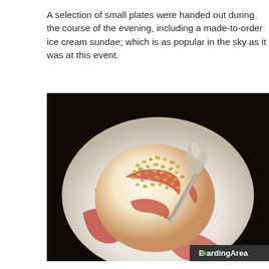A selection of small plates were handed out during the course of the evening, including a made-to-order ice cream sundae; which is as popular in the sky as it was at this event.
[Figure (photo): Close-up photograph of an ice cream sundae in a white bowl, topped with chopped nuts and red strawberry sauce, with a spoon resting on top. A BoardingArea watermark appears in the bottom-right corner.]